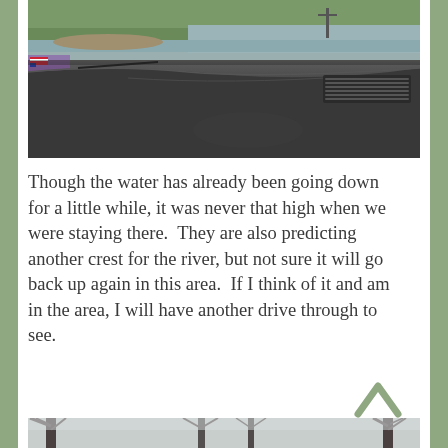[Figure (photo): View from inside a car dashboard looking out at a flooded or wet landscape with green grass, water, and a cross or post visible in the distance. The car dashboard is dark grey/black and prominently visible in the foreground.]
Though the water has already been going down for a little while, it was never that high when we were staying there.  They are also predicting another crest for the river, but not sure it will go back up again in this area.  If I think of it and am in the area, I will have another drive through to see.
[Figure (photo): Bare winter trees silhouetted against a pale grey sky, taken from ground level looking up.]